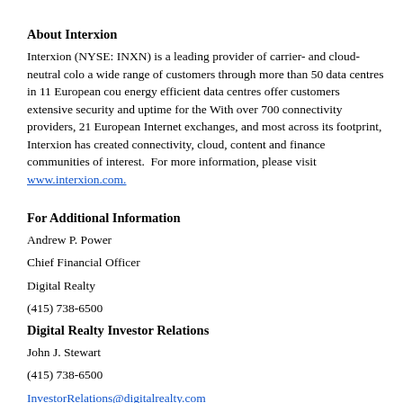About Interxion
Interxion (NYSE: INXN) is a leading provider of carrier- and cloud-neutral colocation data centre services in Europe, serving a wide range of customers through more than 50 data centres in 11 European countries. Interxion's uniformly designed, energy efficient data centres offer customers extensive security and uptime for their mission-critical applications. With over 700 connectivity providers, 21 European Internet exchanges, and most of the leading cloud and digital media platforms across its footprint, Interxion has created connectivity, cloud, content and finance hubs that foster ecosystems of communities of interest.  For more information, please visit www.interxion.com.
For Additional Information
Andrew P. Power
Chief Financial Officer
Digital Realty
(415) 738-6500
Digital Realty Investor Relations
John J. Stewart
(415) 738-6500
InvestorRelations@digitalrealty.com
Interxion Investor Relations
Jim Huseby